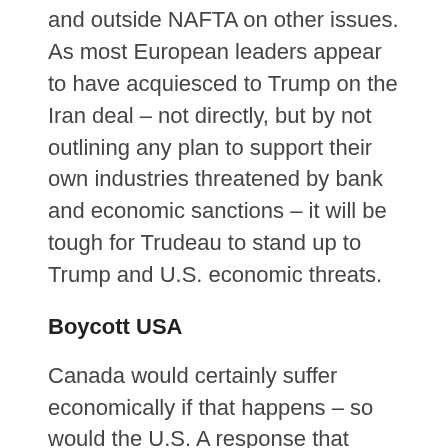and outside NAFTA on other issues. As most European leaders appear to have acquiesced to Trump on the Iran deal – not directly, but by not outlining any plan to support their own industries threatened by bank and economic sanctions – it will be tough for Trudeau to stand up to Trump and U.S. economic threats.
Boycott USA
Canada would certainly suffer economically if that happens – so would the U.S. A response that could be made is a grassroots action to boycott Made in USA goods. That is impossible to do in its entirety as Canada is so strongly tied into the U.S. economy, but avoiding some obvious items such as automobiles, electronic